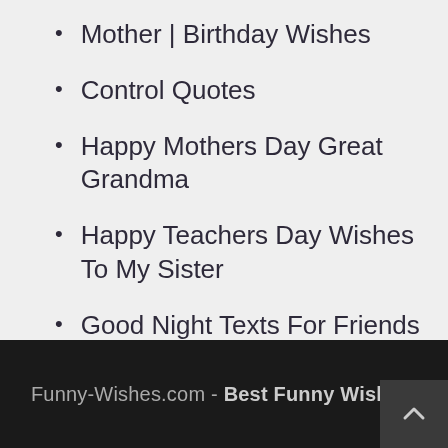Mother | Birthday Wishes
Control Quotes
Happy Mothers Day Great Grandma
Happy Teachers Day Wishes To My Sister
Good Night Texts For Friends
Funny-Wishes.com - Best Funny Wishes.